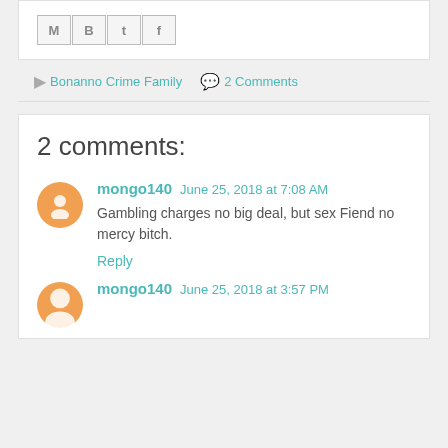[Figure (other): Social share buttons: Gmail (M), Blogger (B), Twitter (t), Facebook (f)]
Bonanno Crime Family   2 Comments
2 comments:
mongo140   June 25, 2018 at 7:08 AM
Gambling charges no big deal, but sex Fiend no mercy bitch.
Reply
mongo140   June 25, 2018 at 3:57 PM